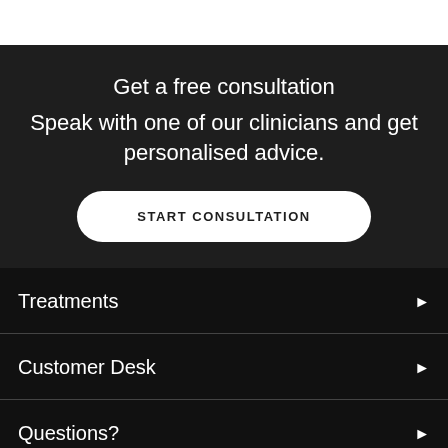Get a free consultation
Speak with one of our clinicians and get personalised advice.
START CONSULTATION
Treatments
Customer Desk
Questions?